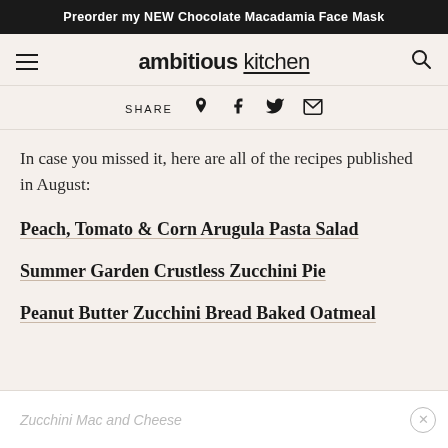Preorder my NEW Chocolate Macadamia Face Mask
ambitious kitchen
SHARE
In case you missed it, here are all of the recipes published in August:
Peach, Tomato & Corn Arugula Pasta Salad
Summer Garden Crustless Zucchini Pie
Peanut Butter Zucchini Bread Baked Oatmeal
Zucchini Mac and Cheese